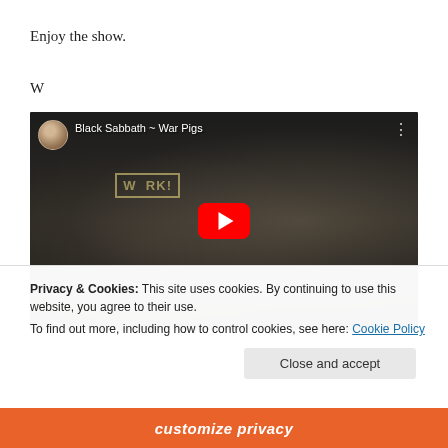Enjoy the show.
W
[Figure (screenshot): YouTube video embed showing Black Sabbath ~ War Pigs with a dark industrial scene thumbnail, red YouTube play button, channel avatar of a woman, and three-dot menu icon.]
Privacy & Cookies: This site uses cookies. By continuing to use this website, you agree to their use.
To find out more, including how to control cookies, see here: Cookie Policy
Close and accept